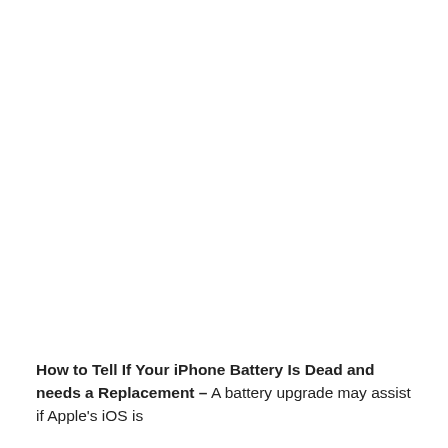How to Tell If Your iPhone Battery Is Dead and needs a Replacement – A battery upgrade may assist if Apple's iOS is